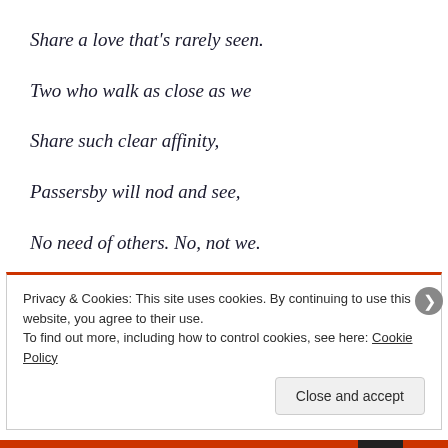Share a love that's rarely seen.
Two who walk as close as we
Share such clear affinity,
Passersby will nod and see,
No need of others. No, not we.
Into the desert, caravan
Privacy & Cookies: This site uses cookies. By continuing to use this website, you agree to their use.
To find out more, including how to control cookies, see here: Cookie Policy
Close and accept